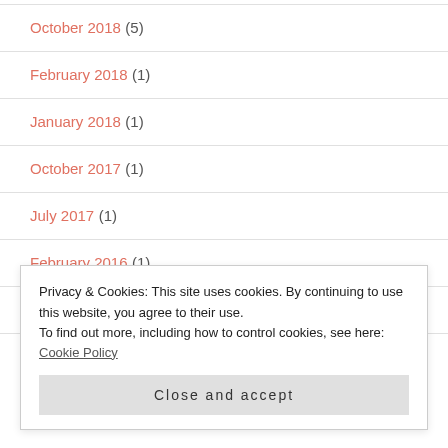October 2018 (5)
February 2018 (1)
January 2018 (1)
October 2017 (1)
July 2017 (1)
February 2016 (1)
December 2015 (2)
November 2015 (2)
Privacy & Cookies: This site uses cookies. By continuing to use this website, you agree to their use.
To find out more, including how to control cookies, see here: Cookie Policy
Close and accept